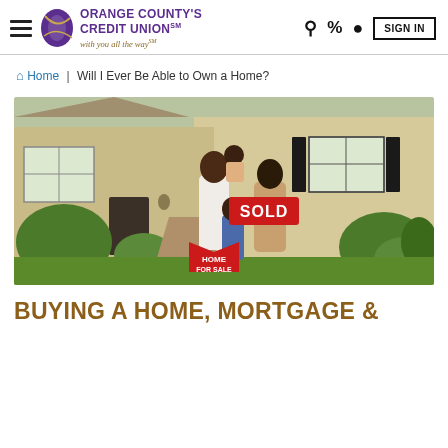Orange County's Credit Union — with you all the way℠
Home | Will I Ever Be Able to Own a Home?
[Figure (photo): A happy family — father, mother, young daughter, and baby — standing in front of a suburban home holding a 'SOLD' sign and a 'Home For Sale' sign.]
BUYING A HOME, MORTGAGE &